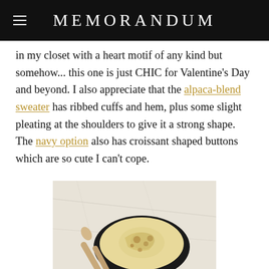MEMORANDUM
in my closet with a heart motif of any kind but somehow... this one is just CHIC for Valentine's Day and beyond. I also appreciate that the alpaca-blend sweater has ribbed cuffs and hem, plus some slight pleating at the shoulders to give it a strong shape. The navy option also has croissant shaped buttons which are so cute I can't cope.
[Figure (photo): Top-down photo of a bowl of food on a marble surface with a wooden spoon, showing a creamy dish with spices on top.]